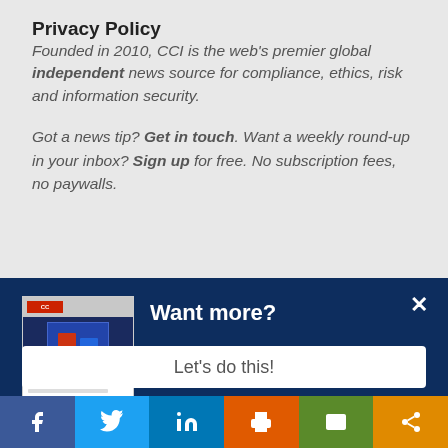Privacy Policy
Founded in 2010, CCI is the web's premier global independent news source for compliance, ethics, risk and information security.
Got a news tip? Get in touch. Want a weekly round-up in your inbox? Sign up for free. No subscription fees, no paywalls.
[Figure (screenshot): Dark blue modal popup with 'Want more?' heading, a newsletter thumbnail image on the left, body text 'Get CCI's weekly round-up in your inbox. Unsubscribe anytime.' and a 'Let's do this!' button. A close (X) icon appears top right.]
[Figure (infographic): Social sharing bar with six buttons: Facebook (purple), Twitter (blue), LinkedIn (blue), Print (orange), Email (green), Share (orange)]